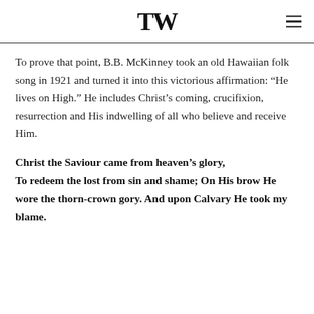TW
To prove that point, B.B. McKinney took an old Hawaiian folk song in 1921 and turned it into this victorious affirmation: “He lives on High.” He includes Christ’s coming, crucifixion, resurrection and His indwelling of all who believe and receive Him.
Christ the Saviour came from heaven’s glory, To redeem the lost from sin and shame; On His brow He wore the thorn-crown gory. And upon Calvary He took my blame.